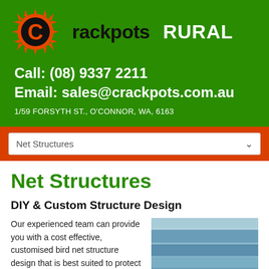[Figure (logo): Crackpots Rural logo: orange spiky circle with letter C and 'rackpots' text, plus RURAL label in white]
Call: (08) 9337 2211
Email: sales@crackpots.com.au
1/59 FORSYTH ST., O'CONNOR, WA, 6163
Net Structures
Net Structures
DIY & Custom Structure Design
Our experienced team can provide you with a cost effective, customised bird net structure design that is best suited to protect your trees, vines or garden.
[Figure (photo): Close-up photo of stacked blue net structure material / tubing]